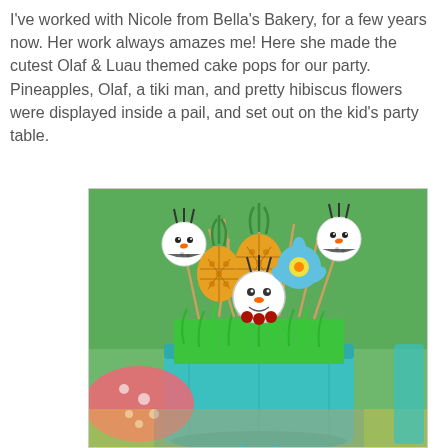I've worked with Nicole from Bella's Bakery, for a few years now. Her work always amazes me! Here she made the cutest Olaf & Luau themed cake pops for our party. Pineapples, Olaf, a tiki man, and pretty hibiscus flowers were displayed inside a pail, and set out on the kid's party table.
[Figure (photo): Photo of Olaf and Luau themed cake pops arranged in a teal bucket filled with green paper grass. The cake pops include Olaf snowman characters, pineapples, a tiki man face, hibiscus flowers, and other tropical themed decorations on sticks. The bucket sits on a colorful patterned tablecloth with a pink polka dot plate visible on the left.]